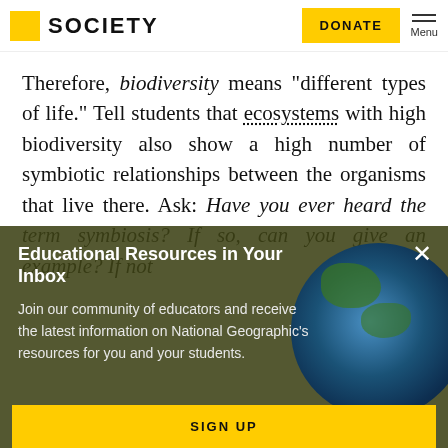SOCIETY | DONATE | Menu
Therefore, biodiversity means "different types of life." Tell students that ecosystems with high biodiversity also show a high number of symbiotic relationships between the organisms that live there. Ask: Have you ever heard the term symbiosis? If so, can you give an example? If not
Educational Resources in Your Inbox
Join our community of educators and receive the latest information on National Geographic's resources for you and your students.
SIGN UP